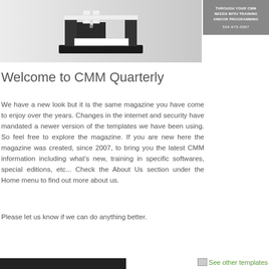[Figure (photo): A CMM (Coordinate Measuring Machine) shown on a light gray gradient banner background]
[Figure (other): Gray advertisement box with text: THROUGH YOUR CMM NEEDS WITH TRAINING AND/OR PROGRAMMING 504-975-5007]
Welcome to CMM Quarterly
We have a new look but it is the same magazine you have come to enjoy over the years. Changes in the internet and security have mandated a newer version of the templates we have been using. So feel free to explore the magazine. If you are new here the magazine was created, since 2007, to bring you the latest CMM information including what's new, training in specific softwares, special editions, etc... Check the About Us section under the Home menu to find out more about us.
Please let us know if we can do anything better.
[Figure (other): See other templates link with small image icon]